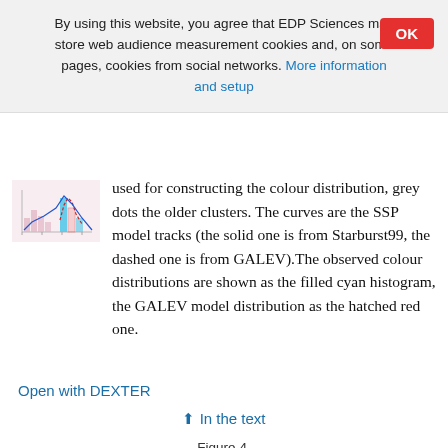By using this website, you agree that EDP Sciences may store web audience measurement cookies and, on some pages, cookies from social networks. More information and setup
[Figure (illustration): Small thumbnail of a scientific figure showing histograms with pink/cyan bars and a blue peak, representing colour distributions of star clusters.]
used for constructing the colour distribution, grey dots the older clusters. The curves are the SSP model tracks (the solid one is from Starburst99, the dashed one is from GALEV).The observed colour distributions are shown as the filled cyan histogram, the GALEV model distribution as the hatched red one.
Open with DEXTER
↑  In the text
Figure 4.